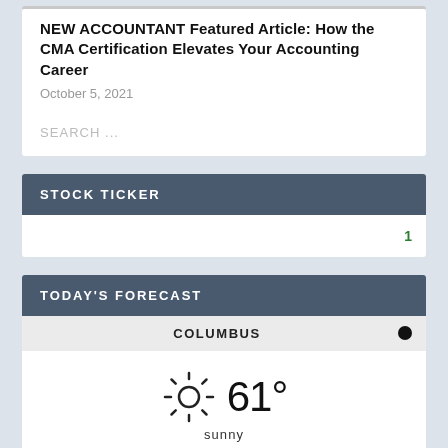NEW ACCOUNTANT Featured Article: How the CMA Certification Elevates Your Accounting Career
October 5, 2021
SEARCH ...
STOCK TICKER
1
TODAY'S FORECAST
COLUMBUS
[Figure (other): Sun icon with weather display showing 61 degrees sunny in Columbus]
sunny